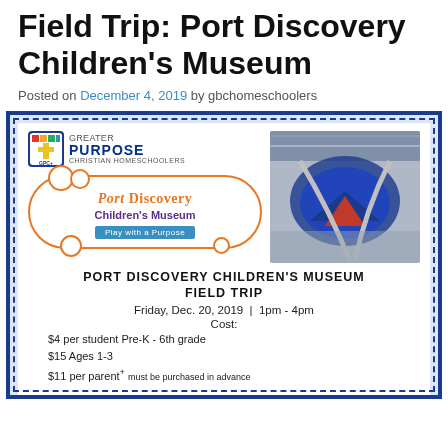Field Trip: Port Discovery Children's Museum
Posted on December 4, 2019 by gbchomeschoolers
[Figure (infographic): Flyer for Port Discovery Children's Museum Field Trip event with Greater Purpose Christian Homeschoolers logo, Port Discovery Children's Museum logo in a cloud bubble, and a photo of the museum interior. Event details: Friday, Dec. 20, 2019 | 1pm - 4pm, Cost: $4 per student Pre-K - 6th grade, $15 Ages 1-3, $11 per parent+]
PORT DISCOVERY CHILDREN'S MUSEUM FIELD TRIP
Friday, Dec. 20, 2019 | 1pm - 4pm
Cost:
$4 per student Pre-K - 6th grade
$15 Ages 1-3
$11 per parent+